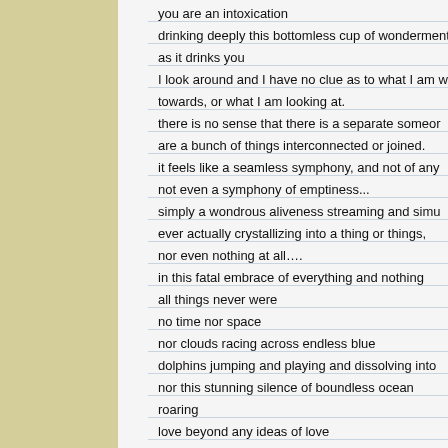you are an intoxication
drinking deeply this bottomless cup of wonderment
as it drinks you
I look around and I have no clue as to what I am walking towards, or what I am looking at.
there is no sense that there is a separate someone — there are a bunch of things interconnected or joined.
it feels like a seamless symphony, and not of any particular thing, not even a symphony of emptiness...
simply a wondrous aliveness streaming and simultaneously, ever actually crystallizing into a thing or things,
nor even nothing at all….
in this fatal embrace of everything and nothing
all things never were
no time nor space
nor clouds racing across endless blue
dolphins jumping and playing and dissolving into
nor this stunning silence of boundless ocean roaring
love beyond any ideas of love
has swallowed the world of things
and is intoxicated by her own demise
she sings without words or music